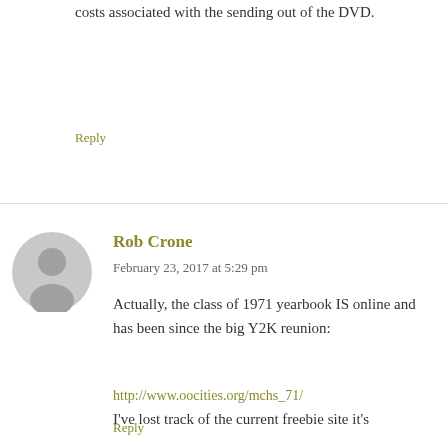costs associated with the sending out of the DVD.
Reply
Rob Crone
February 23, 2017 at 5:29 pm
Actually, the class of 1971 yearbook IS online and has been since the big Y2K reunion:
http://www.oocities.org/mchs_71/
I've lost track of the current freebie site it's on but you can see the archived version at the link above.
Reply